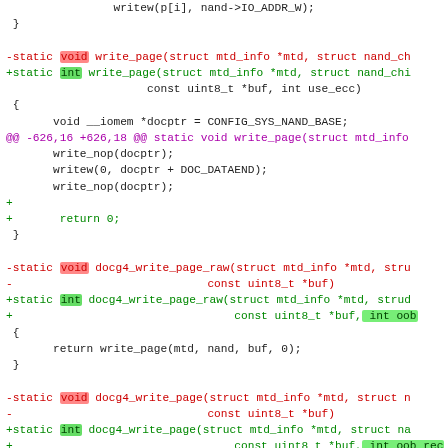[Figure (screenshot): A code diff screenshot showing changes to write_page and docg4_write_page_raw and docg4_write_page functions in C, with removed lines in red and added lines in green, including highlighted keywords 'void' (red background) and 'int' (green background).]